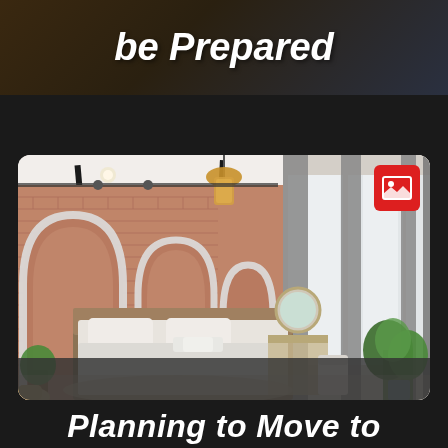be Prepared
[Figure (photo): Interior photo of a stylish bedroom with exposed brick arches on the wall, a double bed with white/grey bedding, a rattan pendant light, grey curtains, indoor plants, and a vanity desk area.]
Planning to Move to